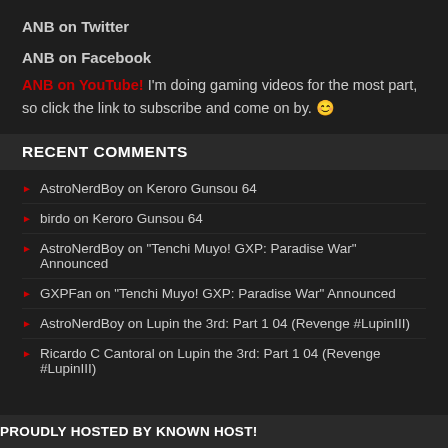ANB on Twitter
ANB on Facebook
ANB on YouTube! I'm doing gaming videos for the most part, so click the link to subscribe and come on by. 😊
RECENT COMMENTS
AstroNerdBoy on Keroro Gunsou 64
birdo on Keroro Gunsou 64
AstroNerdBoy on "Tenchi Muyo! GXP: Paradise War" Announced
GXPFan on "Tenchi Muyo! GXP: Paradise War" Announced
AstroNerdBoy on Lupin the 3rd: Part 1 04 (Revenge #LupinIII)
Ricardo C Cantoral on Lupin the 3rd: Part 1 04 (Revenge #LupinIII)
PROUDLY HOSTED BY KNOWN HOST!